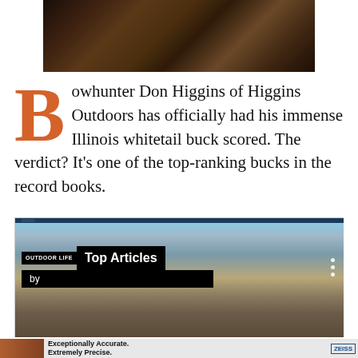[Figure (photo): Close-up photo of a bowhunter's hands in camouflage gear holding a bow]
Bowhunter Don Higgins of Higgins Outdoors has officially had his immense Illinois whitetail buck scored. The verdict? It's one of the top-ranking bucks in the record books.
[Figure (screenshot): Outdoor Life Top Articles widget overlaid on a mountain canyon landscape photo]
[Figure (photo): Advertisement banner: Exceptionally Accurate. Extremely Precise. Zeiss optics ad]